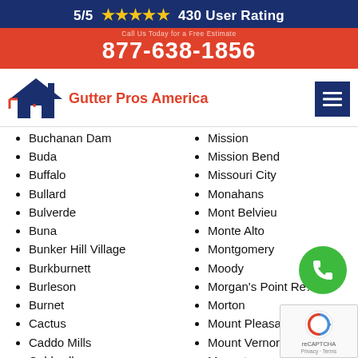5/5 ★★★★★ 430 User Rating
877-638-1856
[Figure (logo): Gutter Pros America logo with house icon]
Buchanan Dam
Buda
Buffalo
Bullard
Bulverde
Buna
Bunker Hill Village
Burkburnett
Burleson
Burnet
Cactus
Caddo Mills
Caldwell
Cameron
Mission
Mission Bend
Missouri City
Monahans
Mont Belvieu
Monte Alto
Montgomery
Moody
Morgan's Point Re...
Morton
Mount Pleasant
Mount Vernon
Muenster
Muleshoe